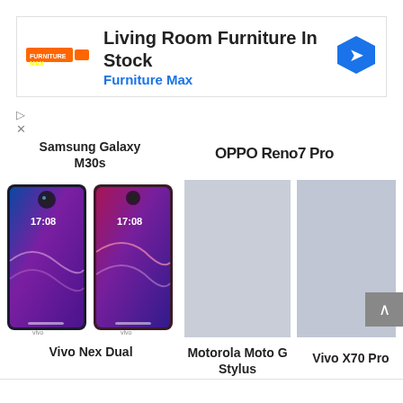[Figure (screenshot): Advertisement banner for Furniture Max showing 'Living Room Furniture In Stock' with a blue navigation arrow icon and the Furniture Max logo]
Samsung Galaxy M30s
OPPO Reno7 Pro
[Figure (photo): Photo of Vivo Nex Dual smartphone with purple display, shown from front]
[Figure (photo): Placeholder image for Motorola Moto G Stylus (grey rectangle)]
[Figure (photo): Placeholder image for Vivo X70 Pro (grey rectangle)]
Vivo Nex Dual
Motorola Moto G Stylus
Vivo X70 Pro